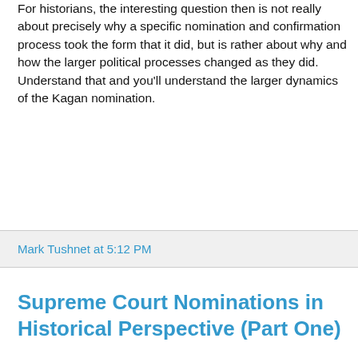For historians, the interesting question then is not really about precisely why a specific nomination and confirmation process took the form that it did, but is rather about why and how the larger political processes changed as they did. Understand that and you'll understand the larger dynamics of the Kagan nomination.
Mark Tushnet at 5:12 PM
Supreme Court Nominations in Historical Perspective (Part One)
As the opening day of hearings on Elena Kagan's nomination to the Supreme Court approaches, some historical reflections on the processes of nomination and confirmation seem appropriate. As any historian will tell you about essentially everything, it wasn't always this way, and yet there is nothing new under the sun.
1.  I've been struck by two novel features of the process — the